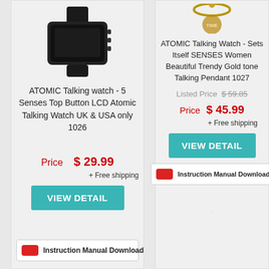[Figure (photo): Black atomic talking watch photo (top cropped)]
ATOMIC Talking watch - 5 Senses Top Button LCD Atomic Talking Watch UK & USA only 1026
Price   $ 29.99
+ Free shipping
VIEW DETAIL
Instruction Manual Download
[Figure (photo): Gold tone talking pendant watch photo (top cropped)]
ATOMIC Talking Watch - Sets Itself SENSES Women Beautiful Trendy Gold tone Talking Pendant 1027
Listed Price  $ 59.85
Price   $ 45.99
+ Free shipping
VIEW DETAIL
Instruction Manual Download